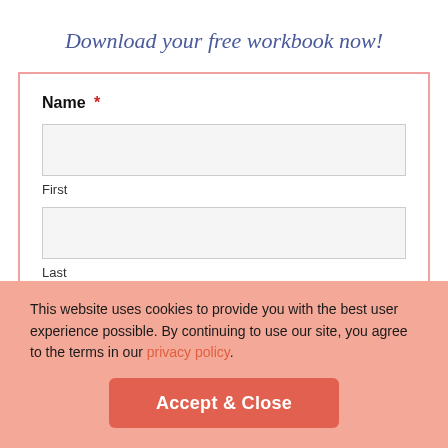Download your free workbook now!
Name *
First
Last
This website uses cookies to provide you with the best user experience possible. By continuing to use our site, you agree to the terms in our privacy policy.
Accept & Close